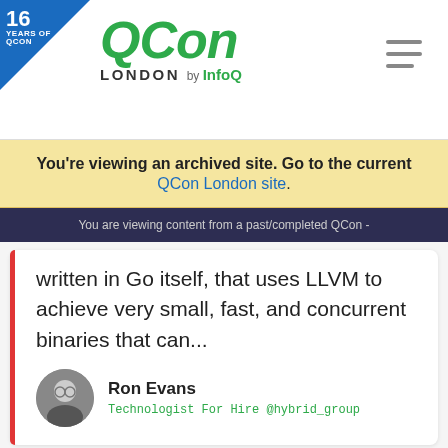[Figure (logo): QCon London by InfoQ logo with 16 Years of QCon badge and hamburger menu icon]
You're viewing an archived site. Go to the current QCon London site.
You are viewing content from a past/completed QCon -
written in Go itself, that uses LLVM to achieve very small, fast, and concurrent binaries that can...
Ron Evans
Technologist For Hire @hybrid_group
View full Schedule